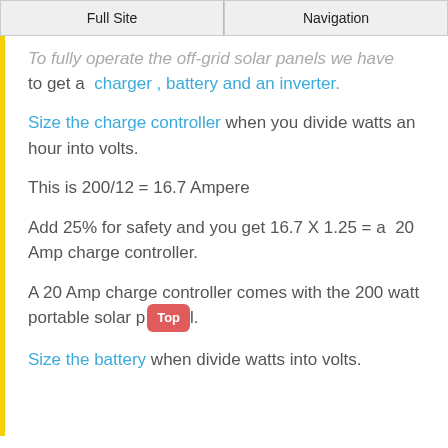Full Site | Navigation
To fully operate the off-grid solar panels we have to get a charger , battery and an inverter.
Size the charge controller when you divide watts an hour into volts.
This is 200/12 = 16.7 Ampere
Add 25% for safety and you get 16.7 X 1.25 = a  20 Amp charge controller.
A 20 Amp charge controller comes with the 200 watt portable solar panel.
Size the battery when divide watts into volts.